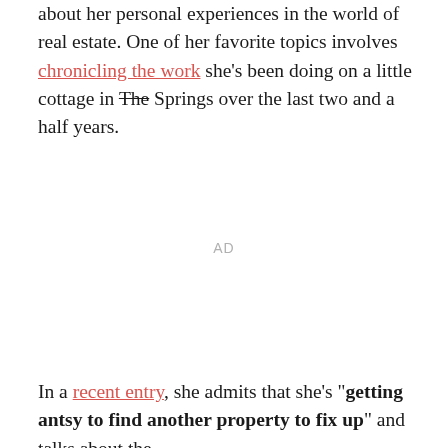about her personal experiences in the world of real estate. One of her favorite topics involves chronicling the work she's been doing on a little cottage in The Springs over the last two and a half years.
AD
In a recent entry, she admits that she's "getting antsy to find another property to fix up" and talks about the